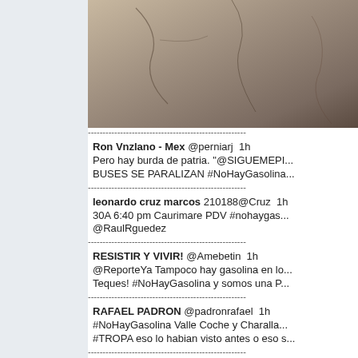[Figure (photo): Cracked pavement/concrete surface, top portion visible]
Ron Vnzlano - Mex @perniarj  1h
Pero hay burda de patria. "@SIGUEMEPI... BUSES SE PARALIZAN #NoHayGasolina...
leonardo cruz marcos 210188@Cruz  1h
30A 6:40 pm Caurimare PDV #nohaygas... @RaulRguedez
RESISTIR Y VIVIR! @Amebetin  1h
@ReporteYa Tampoco hay gasolina en lo... Teques! #NoHayGasolina y somos una P...
RAFAEL PADRON @padronrafael  1h
#NoHayGasolina Valle Coche y Charalla... #TROPA eso lo habian visto antes o eso s...
Mema Machado @memamachado  1h
@ReporteYa #Nohaygasolina en un pais... gasolina en CCS. INSOLITO! @RRamire...
Pray for Venezuela @vzlapray  1h